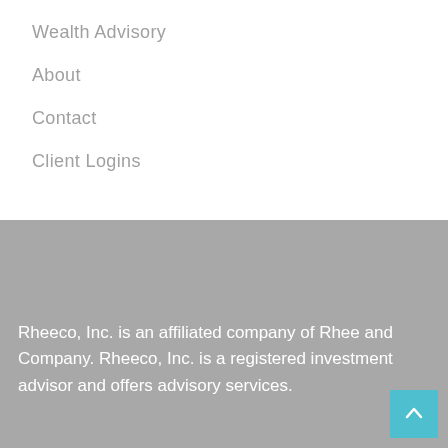Wealth Advisory
About
Contact
Client Logins
Rheeco, Inc. is an affiliated company of Rhee and Company. Rheeco, Inc. is a registered investment advisor and offers advisory services.